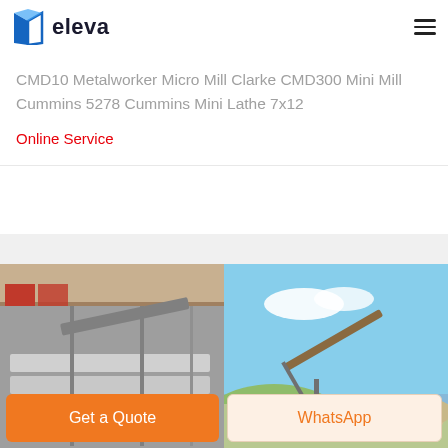[Figure (logo): Eleva brand logo with blue book/door icon and bold text 'eleva']
CMD10 Metalworker Micro Mill Clarke CMD300 Mini Mill Cummins 5278 Cummins Mini Lathe 7x12
Online Service
[Figure (photo): Industrial facility interior showing conveyor belt system with metal pipes and materials in a large warehouse]
[Figure (photo): Outdoor quarry or mining site with conveyor belt structure against blue sky]
Get a Quote
WhatsApp